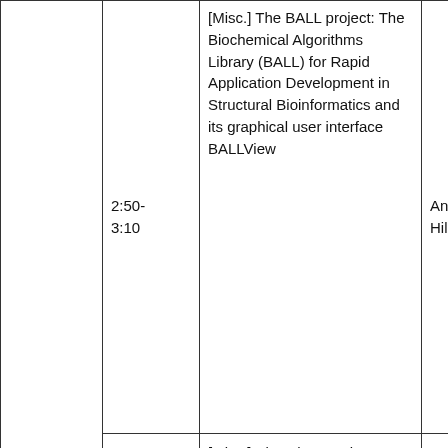|  | Time | Title | Author |
| --- | --- | --- | --- |
|  | 2:50-3:10 | [Misc.] The BALL project: The Biochemical Algorithms Library (BALL) for Rapid Application Development in Structural Bioinformatics and its graphical user interface BALLView | Andreas Hildebrandt |
|  | 3:10-3:20 | [Misc.] Biopython Project Update | Peter Cock |
|  |  |  |  |